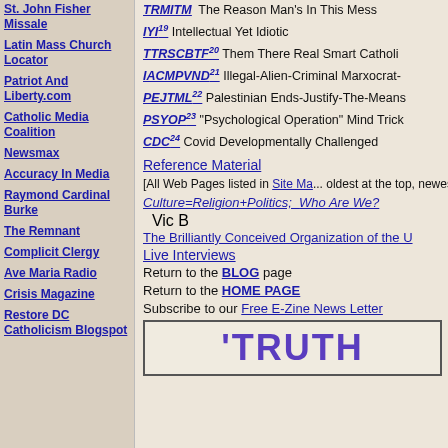St. John Fisher Missale
Latin Mass Church Locator
Patriot And Liberty.com
Catholic Media Coalition
Newsmax
Accuracy In Media
Raymond Cardinal Burke
The Remnant
Complicit Clergy
Ave Maria Radio
Crisis Magazine
Restore DC Catholicism Blogspot
TRMITM - The Reason Man's In This Mess
IYI19 Intellectual Yet Idiotic
TTRSCBTF20 Them There Real Smart Catholics...
IACMPVND21 Illegal-Alien-Criminal Marxocrat-...
PEJTML22 Palestinian Ends-Justify-The-Means...
PSYOP23 "Psychological Operation" Mind Trick...
CDC24 Covid Developmentally Challenged
Reference Material
[All Web Pages listed in Site Map, oldest at the top, newest at the bottom]
Culture=Religion+Politics; Who Are We? Vic B...
The Brilliantly Conceived Organization of the U...
Live Interviews
Return to the BLOG page
Return to the HOME PAGE
Subscribe to our Free E-Zine News Letter
[Figure (logo): TRUTH logo text in purple bold Impact font inside a bordered box]